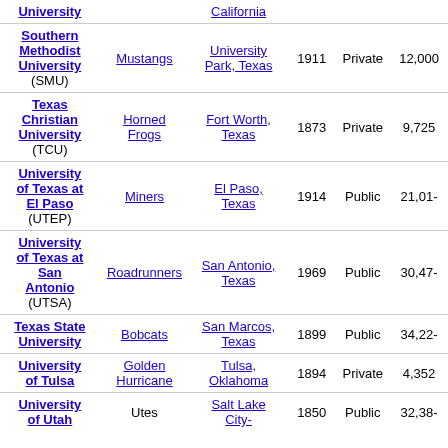| Institution | Nickname | Location | Founded | Type | Enrollment |
| --- | --- | --- | --- | --- | --- |
| University [partial] | California [partial] |  |  |  |  |
| Southern Methodist University (SMU) | Mustangs | University Park, Texas | 1911 | Private | 12,000+ |
| Texas Christian University (TCU) | Horned Frogs | Fort Worth, Texas | 1873 | Private | 9,725 |
| University of Texas at El Paso (UTEP) | Miners | El Paso, Texas | 1914 | Public | 21,01- |
| University of Texas at San Antonio (UTSA) | Roadrunners | San Antonio, Texas | 1969 | Public | 30,47- |
| Texas State University | Bobcats | San Marcos, Texas | 1899 | Public | 34,22- |
| University of Tulsa | Golden Hurricane | Tulsa, Oklahoma | 1894 | Private | 4,352 |
| University of Utah [partial] | Utes | Salt Lake City [partial] | 1850 | Public | 32,38- |